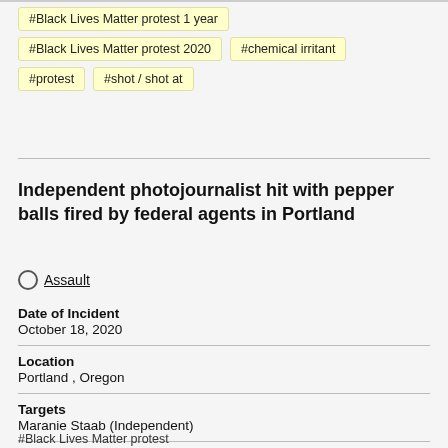#Black Lives Matter protest 1 year
#Black Lives Matter protest 2020
#chemical irritant
#protest
#shot / shot at
Independent photojournalist hit with pepper balls fired by federal agents in Portland
Assault
Date of Incident
October 18, 2020
Location
Portland , Oregon
Targets
Maranie Staab (Independent)
#Black Lives Matter protest